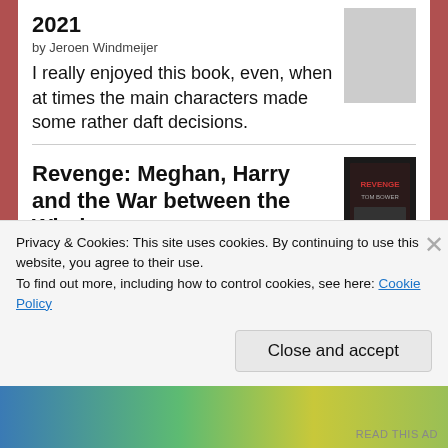2021
by Jeroen Windmeijer
I really enjoyed this book, even, when at times the main characters made some rather daft decisions.
Revenge: Meghan, Harry and the War between the Windsors
by Tom Bower
Cleverly written in such a way no one could sue. The author states the facts and leaves the reader to draw their own conclusions. It lifts the veil on what many of us have thought for a long time. However, there were many things hinted
Privacy & Cookies: This site uses cookies. By continuing to use this website, you agree to their use.
To find out more, including how to control cookies, see here: Cookie Policy
Close and accept